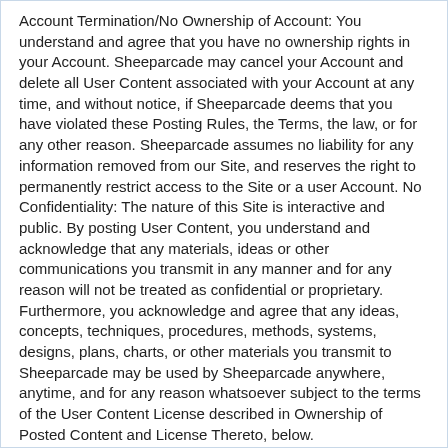Account Termination/No Ownership of Account: You understand and agree that you have no ownership rights in your Account. Sheeparcade may cancel your Account and delete all User Content associated with your Account at any time, and without notice, if Sheeparcade deems that you have violated these Posting Rules, the Terms, the law, or for any other reason. Sheeparcade assumes no liability for any information removed from our Site, and reserves the right to permanently restrict access to the Site or a user Account. No Confidentiality: The nature of this Site is interactive and public. By posting User Content, you understand and acknowledge that any materials, ideas or other communications you transmit in any manner and for any reason will not be treated as confidential or proprietary. Furthermore, you acknowledge and agree that any ideas, concepts, techniques, procedures, methods, systems, designs, plans, charts, or other materials you transmit to Sheeparcade may be used by Sheeparcade anywhere, anytime, and for any reason whatsoever subject to the terms of the User Content License described in Ownership of Posted Content and License Thereto, below.